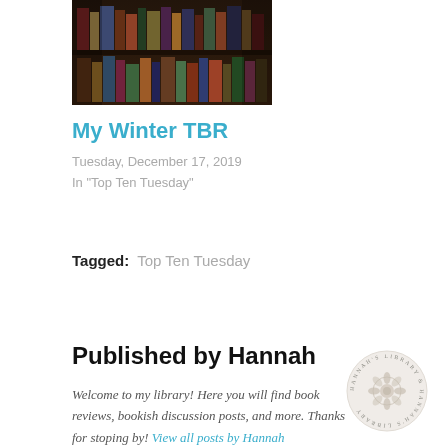[Figure (photo): A photo of books on library shelves, dark brown tones with various book spines visible]
My Winter TBR
Tuesday, December 17, 2019
In "Top Ten Tuesday"
Tagged: Top Ten Tuesday
Published by Hannah
Welcome to my library! Here you will find book reviews, bookish discussion posts, and more. Thanks for stoping by! View all posts by Hannah
[Figure (logo): Circular logo with floral/botanical design and text around the border reading Hannah's Library]